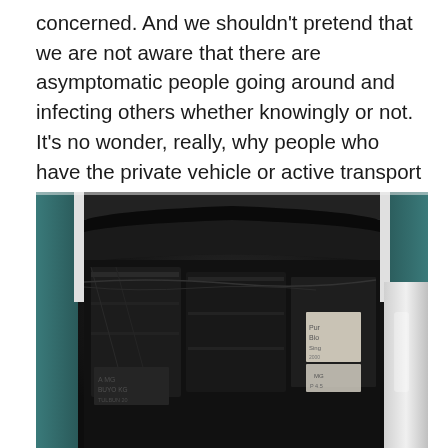concerned. And we shouldn't pretend that we are not aware that there are asymptomatic people going around and infecting others whether knowingly or not. It's no wonder, really, why people who have the private vehicle or active transport option use these instead of public transport.
[Figure (photo): Interior view of a vehicle (bus or jeepney) with seats covered in black plastic bags and goods/packages visible inside, taken from the front windshield area looking in.]